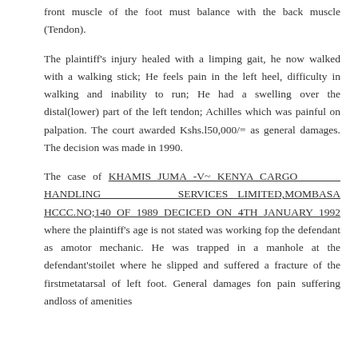front muscle of the foot must balance with the back muscle (Tendon).
The plaintiff's injury healed with a limping gait, he now walked with a walking stick; He feels pain in the left heel, difficulty in walking and inability to run; He had a swelling over the distal(lower) part of the left tendon; Achilles which was painful on palpation. The court awarded Kshs.l50,000/= as general damages. The decision was made in 1990.
The case of KHAMIS JUMA -V~ KENYA CARGO HANDLING SERVICES LIMITED,MOMBASA HCCC.NO;140 OF 1989 DECICED ON 4TH JANUARY 1992 where the plaintiff's age is not stated was working fop the defendant as amotor mechanic. He was trapped in a manhole at the defendant'stoilet where he slipped and suffered a fracture of the firstmetatarsal of left foot. General damages fon pain suffering andloss of amenities